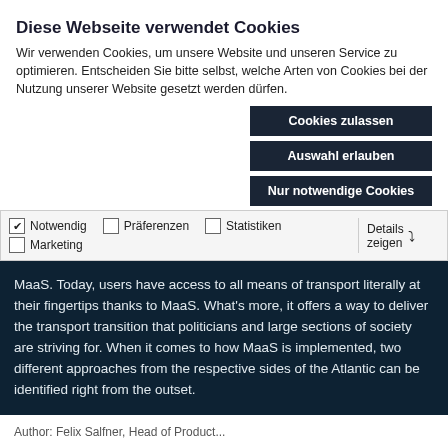Diese Webseite verwendet Cookies
Wir verwenden Cookies, um unsere Website und unseren Service zu optimieren. Entscheiden Sie bitte selbst, welche Arten von Cookies bei der Nutzung unserer Website gesetzt werden dürfen.
Cookies zulassen
Auswahl erlauben
Nur notwendige Cookies
✔ Notwendig  ☐ Präferenzen  ☐ Statistiken  ☐ Marketing  Details zeigen
MaaS. Today, users have access to all means of transport literally at their fingertips thanks to MaaS. What's more, it offers a way to deliver the transport transition that politicians and large sections of society are striving for. When it comes to how MaaS is implemented, two different approaches from the respective sides of the Atlantic can be identified right from the outset.
Author: Felix Salfner, Head of Product...